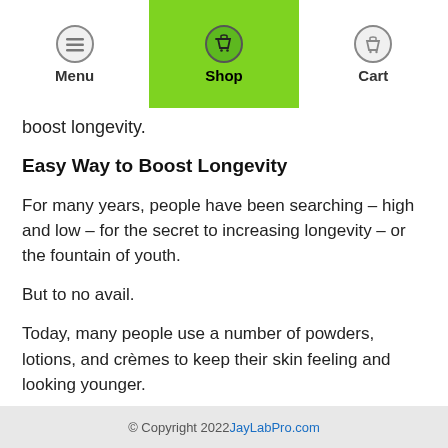Menu | Shop | Cart
boost longevity.
Easy Way to Boost Longevity
For many years, people have been searching – high and low – for the secret to increasing longevity – or the fountain of youth.
But to no avail.
Today, many people use a number of powders, lotions, and crèmes to keep their skin feeling and looking younger.
However, these products may only improve the outside of your body, but do nothing for improving the INSIDE of your body.
© Copyright 2022 JayLabPro.com